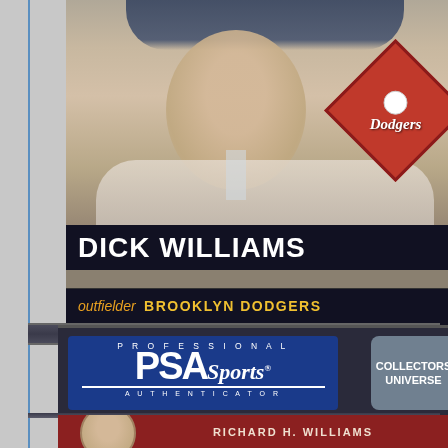[Figure (photo): A vintage 1950s Topps baseball card of Dick Williams, Brooklyn Dodgers outfielder, encased in a PSA (Professional Sports Authenticator) grading slab. The top portion shows a baseball card with a player photo, a red Dodgers diamond logo, the name 'DICK WILLIAMS' in white bold text on a dark bar, and 'outfielder BROOKLYN DODGERS' in orange/yellow italic text. The middle section shows the blue PSA Sports Authenticator label with 'PROFESSIONAL' at top, large PSA letters with 'Sports' script, 'AUTHENTICATOR' at bottom, and a 'COLLECTORS UNIVERSE' badge to the right. The bottom shows a partial red PSA data label with 'RICHARD H. WILLIAMS' text and a partial face/head image.]